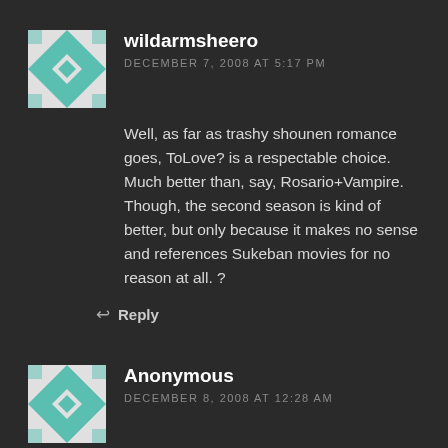[Figure (illustration): Teal and white geometric/quilt-pattern avatar for user wildarmsheero]
wildarmsheero
DECEMBER 7, 2008 AT 5:17 PM
Well, as far as trashy shounen romance goes, ToLove? is a respectable choice. Much better than, say, Rosario+Vampire. Though, the second season is kind of better, but only because it makes no sense and references Sukeban movies for no reason at all. ?
Reply
[Figure (illustration): Teal and white geometric/quilt-pattern avatar for user Anonymous]
Anonymous
DECEMBER 8, 2008 AT 12:28 AM
Just proofing the CLOVER omnibus while listening to the AWA report. In the Dark Horse